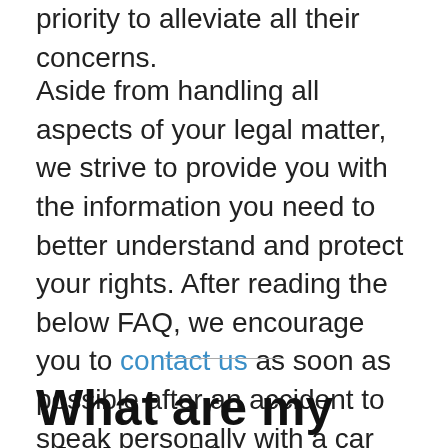priority to alleviate all their concerns.
Aside from handling all aspects of your legal matter, we strive to provide you with the information you need to better understand and protect your rights. After reading the below FAQ, we encourage you to contact us as soon as possible after an accident to speak personally with a car accident attorney from our team.
What are my rights if another